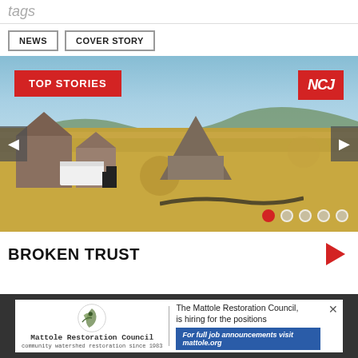tags
NEWS
COVER STORY
[Figure (photo): Exterior photo of rural buildings and structures with dry golden grass, blue sky, and hills in background. Slideshow with TOP STORIES label and NCJ badge overlay.]
BROKEN TRUST
[Figure (infographic): Advertisement for Mattole Restoration Council - community watershed restoration since 1983. Text: The Mattole Restoration Council, is hiring for the positions. For full job announcements visit mattole.org]